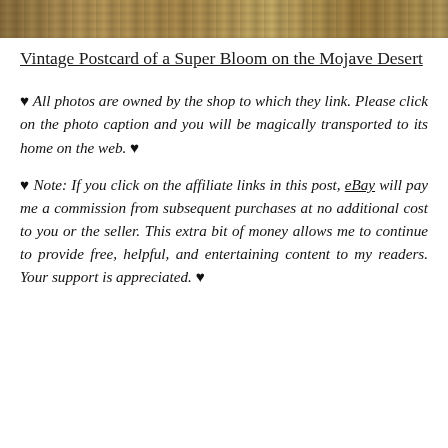[Figure (photo): Top strip of a vintage postcard photo showing a desert landscape with vegetation]
Vintage Postcard of a Super Bloom on the Mojave Desert
♥ All photos are owned by the shop to which they link. Please click on the photo caption and you will be magically transported to its home on the web. ♥
♥ Note: If you click on the affiliate links in this post, eBay will pay me a commission from subsequent purchases at no additional cost to you or the seller. This extra bit of money allows me to continue to provide free, helpful, and entertaining content to my readers. Your support is appreciated. ♥